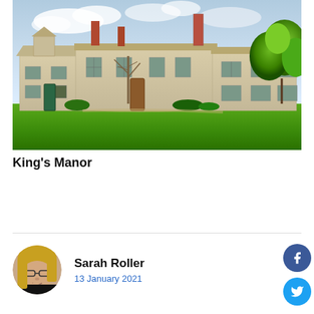[Figure (photo): Exterior photo of King's Manor, a historic stone building with multiple chimneys and tall windows, surrounded by green lawn and trees on a sunny day.]
King's Manor
Sarah Roller
13 January 2021